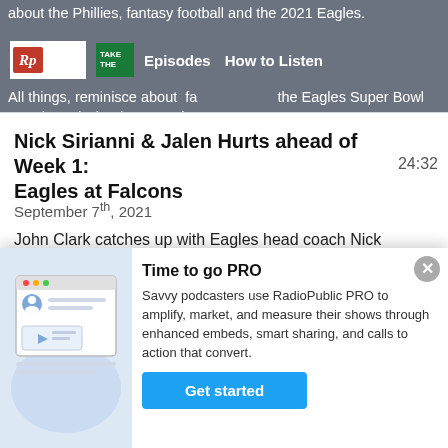about the Phillies, fantasy football and the 2021 Eagles. All things, reminisce about fa...the Eagles Super Bowl parade and what happened ...
[Figure (screenshot): RadioPublic navigation bar with logo, Menu, podcast thumbnail, Episodes, How to Listen links on gray background]
Nick Sirianni & Jalen Hurts ahead of Week 1: Eagles at Falcons
24:32
September 7th, 2021
John Clark catches up with Eagles head coach Nick Sirianni and quarterback Jalen Hurts as they prepare to face the Atlanta Falcons in Week 1 of the ...
Eagles Safety Anthony Harris & 53-man
[Figure (illustration): RadioPublic PRO promotional illustration showing a podcast page mockup with player]
Time to go PRO
Savvy podcasters use RadioPublic PRO to amplify, market, and measure their shows through enhanced embeds, smart sharing, and calls to action that convert.
Get started